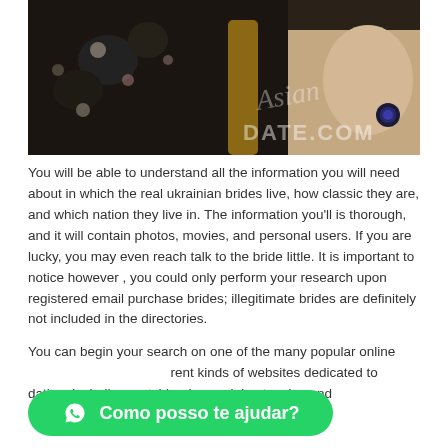[Figure (photo): Woman in floral dress seated on a chair, with AsianDate.com watermark visible]
You will be able to understand all the information you will need about in which the real ukrainian brides live, how classic they are, and which nation they live in. The information you'll is thorough, and it will contain photos, movies, and personal users. If you are lucky, you may even reach talk to the bride little. It is important to notice however , you could only perform your research upon registered email purchase brides; illegitimate brides are definitely not included in the directories.
You can begin your search on one of the many popular online different kinds of websites dedicated to dating, including matchbooks, social networks, and
[Figure (other): WhatsApp chat button with text 'Como posso te ajudar?']